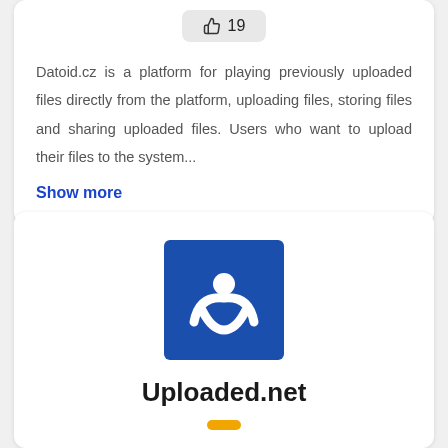[Figure (screenshot): Like/thumbs-up button showing count of 19]
Datoid.cz is a platform for playing previously uploaded files directly from the platform, uploading files, storing files and sharing uploaded files. Users who want to upload their files to the system...
Show more
[Figure (logo): Uploaded.net logo: blue square with white stylized figure/swoosh icon]
Uploaded.net